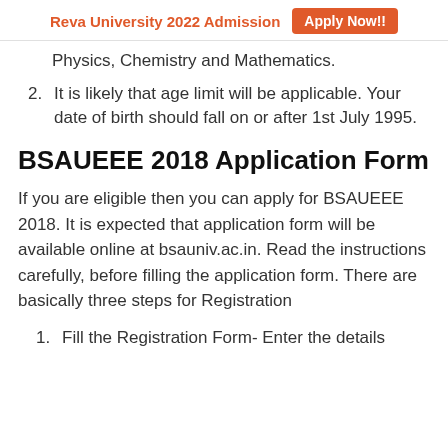Reva University 2022 Admission  Apply Now!!
Physics, Chemistry and Mathematics.
2. It is likely that age limit will be applicable. Your date of birth should fall on or after 1st July 1995.
BSAUEEE 2018 Application Form
If you are eligible then you can apply for BSAUEEE 2018. It is expected that application form will be available online at bsauniv.ac.in. Read the instructions carefully, before filling the application form. There are basically three steps for Registration
1. Fill the Registration Form- Enter the details